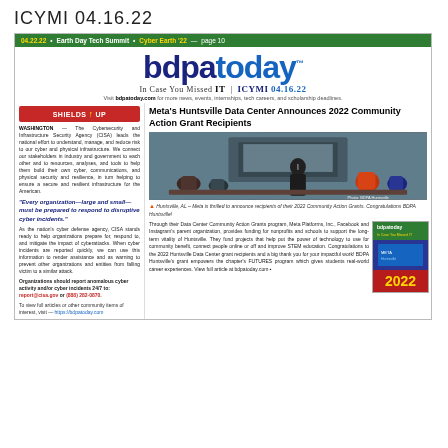ICYMI 04.16.22
04.22.22 • Earth Day Tech Summit • Cyber Earth '22 — page 10
bdpatoday
In Case You Missed IT | ICYMI 04.16.22
Visit bdpatoday.com for more news, events, internships, tech careers, and scholarship deadlines.
SHIELDS UP
WASHINGTON — The Cybersecurity and Infrastructure Security Agency (CISA) leads the national effort to understand, manage, and reduce risk to our cyber and physical infrastructure. We connect our stakeholders in industry and government to each other and to resources, analyses, and tools to help them build their own cyber, communications, and physical security and resilience, in turn helping to ensure a secure and resilient infrastructure for the American.
"Every organization—large and small—must be prepared to respond to disruptive cyber incidents."
As the nation's cyber defense agency, CISA stands ready to help organizations prepare for, respond to, and mitigate the impact of cyberattacks. When cyber incidents are reported quickly, we can use this information to render assistance and as warning to prevent other organizations and entities from falling victim to a similar attack.
Organizations should report anomalous cyber activity and/or cyber incidents 24/7 to: report@cisa.gov or (888) 282-0870.
To view full articles or other community items of interest, visit — https://bdpatoday.com
Meta's Huntsville Data Center Announces 2022 Community Action Grant Recipients
[Figure (photo): Classroom or training room scene with instructor presenting at a computer monitor to seated attendees.]
▲ Huntsville, AL – Meta is thrilled to announce recipients of their 2022 Community Action Grants. Congratulations BDPA Huntsville!
Through their Data Center Community Action Grants program, Meta Platforms, Inc., Facebook and Instagram's parent organization, provides funding for nonprofits and schools to support the long-term vitality of Huntsville. They fund projects that help put the power of technology to use for community benefit, connect people online or off and improve STEM education. Congratulations to the 2022 Huntsville Data Center grant recipients and a big thank you for your impactful work! BDPA Huntsville's grant empowers the chapter's FUTURES program which gives students real-world career experiences. View full article at bdpatoday.com
[Figure (photo): Inset image of bdpatoday newsletter cover with 2022 branding.]